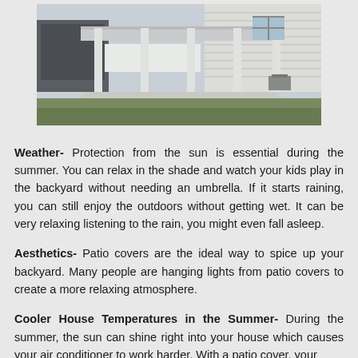[Figure (photo): Outdoor patio cover with white columns over a concrete slab, attached to a house, with a green lawn in the foreground and a garage/shed in the background.]
Weather- Protection from the sun is essential during the summer. You can relax in the shade and watch your kids play in the backyard without needing an umbrella. If it starts raining, you can still enjoy the outdoors without getting wet. It can be very relaxing listening to the rain, you might even fall asleep.
Aesthetics- Patio covers are the ideal way to spice up your backyard. Many people are hanging lights from patio covers to create a more relaxing atmosphere.
Cooler House Temperatures in the Summer- During the summer, the sun can shine right into your house which causes your air conditioner to work harder. With a patio cover, your